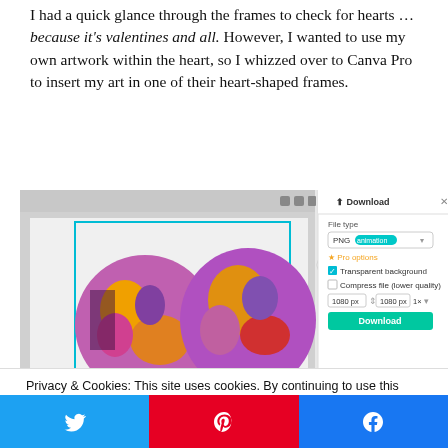I had a quick glance through the frames to check for hearts … because it's valentines and all. However, I wanted to use my own artwork within the heart, so I whizzed over to Canva Pro to insert my art in one of their heart-shaped frames.
[Figure (screenshot): Screenshot of Canva Pro editor showing colorful circular artwork (purple, orange, pink tones) in a canvas frame, with a Download dialog open on the right showing PNG file type, Pro options, Transparent background checkbox, Compress file, dimensions 1080x1080, and a teal Download button.]
Privacy & Cookies: This site uses cookies. By continuing to use this website, you agree to their use.
To find out more, including how to control cookies, see here: Cookie Policy
Twitter share button | Pinterest share button | Facebook share button